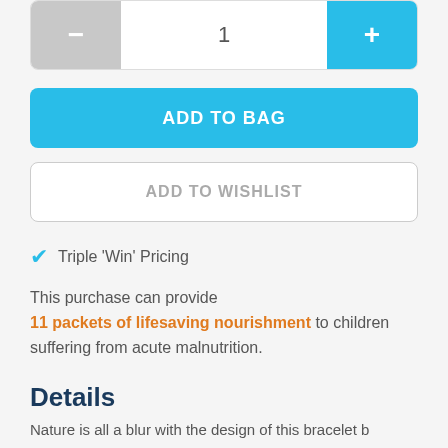[Figure (screenshot): Quantity selector row with minus button (gray), value '1' in center, and plus button (blue)]
[Figure (screenshot): ADD TO BAG button in blue with white bold uppercase text]
[Figure (screenshot): ADD TO WISHLIST button with gray border and gray uppercase text]
Triple 'Win' Pricing
This purchase can provide 11 packets of lifesaving nourishment to children suffering from acute malnutrition.
Details
Nature is all a blur with the design of this bracelet b...